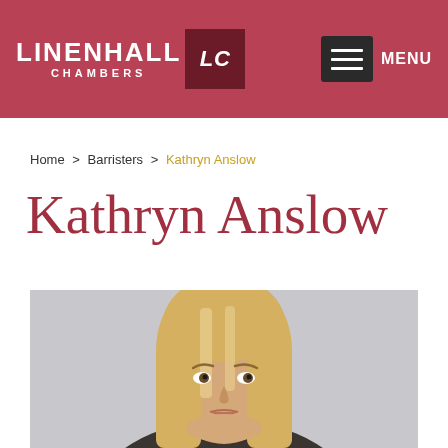LINENHALL LC CHAMBERS
Home > Barristers > Kathryn Anslow
Kathryn Anslow
[Figure (photo): Portrait photo of Kathryn Anslow, a woman with long blonde hair, against a light grey background.]